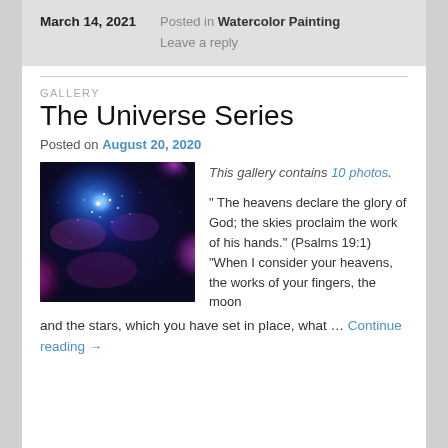March 14, 2021 — Posted in Watercolor Painting. Leave a reply
GALLERY
The Universe Series
Posted on August 20, 2020
[Figure (photo): Watercolor/acrylic painting of a galaxy with vibrant blue and purple cosmic clouds and stars]
This gallery contains 10 photos.
" The heavens declare the glory of God; the skies proclaim the work of his hands." (Psalms 19:1) "When I consider your heavens, the works of your fingers, the moon and the stars, which you have set in place, what … Continue reading →